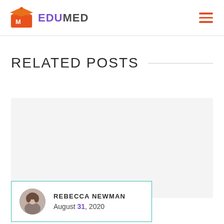EDUMED
RELATED POSTS
[Figure (other): Light gray post card background placeholder area]
REBECCA NEWMAN
August 31, 2020